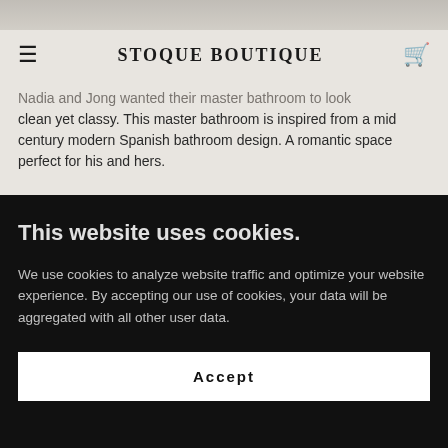Stoque Boutique
Nadia and Jong wanted their master bathroom to look clean yet classy. This master bathroom is inspired from a mid century modern Spanish bathroom design. A romantic space perfect for his and hers.
This website uses cookies.
We use cookies to analyze website traffic and optimize your website experience. By accepting our use of cookies, your data will be aggregated with all other user data.
Accept